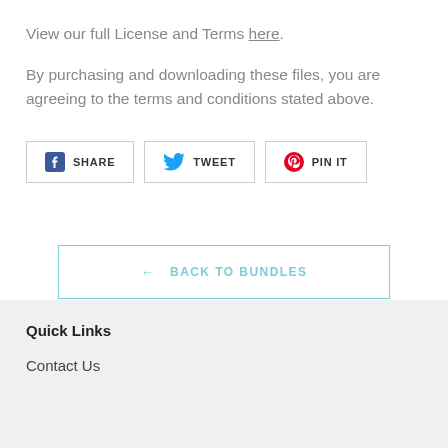View our full License and Terms here.
By purchasing and downloading these files, you are agreeing to the terms and conditions stated above.
SHARE   TWEET   PIN IT
← BACK TO BUNDLES
Quick Links
Contact Us